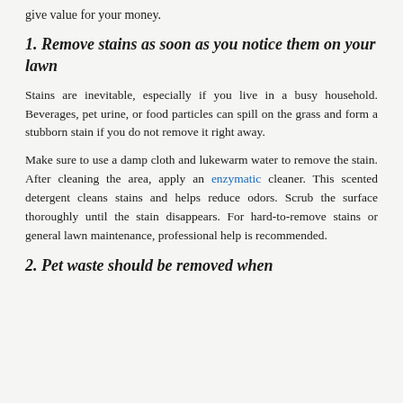give value for your money.
1. Remove stains as soon as you notice them on your lawn
Stains are inevitable, especially if you live in a busy household. Beverages, pet urine, or food particles can spill on the grass and form a stubborn stain if you do not remove it right away.
Make sure to use a damp cloth and lukewarm water to remove the stain. After cleaning the area, apply an enzymatic cleaner. This scented detergent cleans stains and helps reduce odors. Scrub the surface thoroughly until the stain disappears. For hard-to-remove stains or general lawn maintenance, professional help is recommended.
2. Pet waste should be removed when